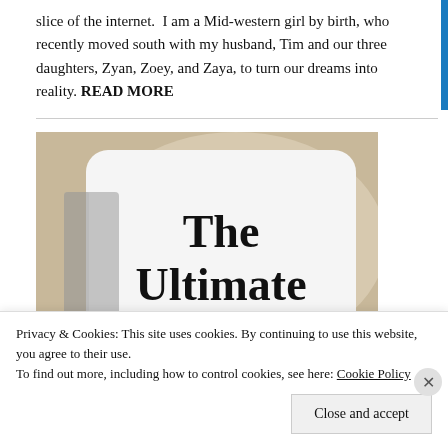slice of the internet.  I am a Mid-western girl by birth, who recently moved south with my husband, Tim and our three daughters, Zyan, Zoey, and Zaya, to turn our dreams into reality. READ MORE
[Figure (photo): A photo of a white card/sign with bold serif text reading 'The Ultimate Step-By-' (text is cropped), placed against a warm beige/tan blurred background]
Privacy & Cookies: This site uses cookies. By continuing to use this website, you agree to their use.
To find out more, including how to control cookies, see here: Cookie Policy
Close and accept